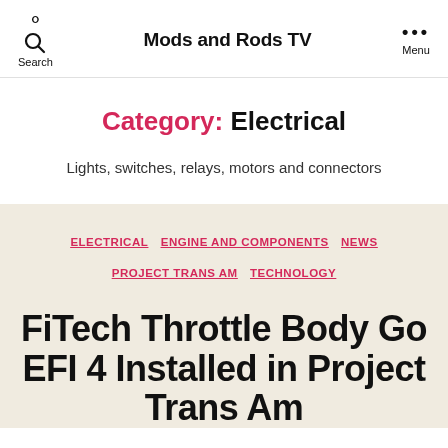Search | Mods and Rods TV | Menu
Category: Electrical
Lights, switches, relays, motors and connectors
ELECTRICAL  ENGINE AND COMPONENTS  NEWS  PROJECT TRANS AM  TECHNOLOGY
FiTech Throttle Body Go EFI 4 Installed in Project Trans Am